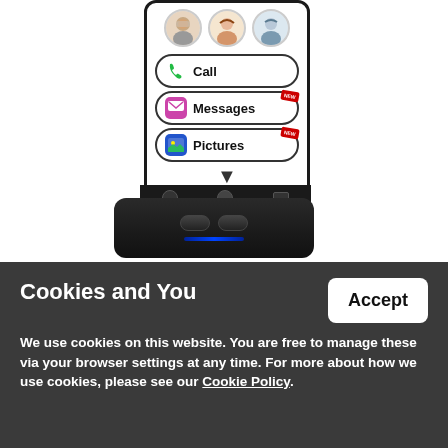[Figure (photo): A smartphone with a simplified senior-friendly interface showing Call, Messages, and Pictures buttons with contact photos at top, sitting in a black charging dock. The phone screen shows large rounded buttons with icons.]
Cookies and You
We use cookies on this website. You are free to manage these via your browser settings at any time. For more about how we use cookies, please see our Cookie Policy.